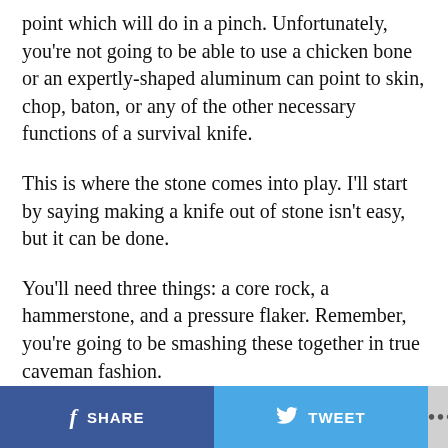point which will do in a pinch. Unfortunately, you're not going to be able to use a chicken bone or an expertly-shaped aluminum can point to skin, chop, baton, or any of the other necessary functions of a survival knife.
This is where the stone comes into play. I'll start by saying making a knife out of stone isn't easy, but it can be done.
You'll need three things: a core rock, a hammerstone, and a pressure flaker. Remember, you're going to be smashing these together in true caveman fashion.
SHARE  TWEET  ...